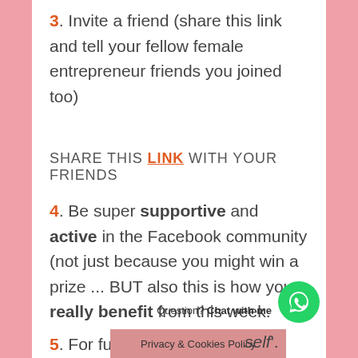3. Invite a friend (share this link and tell your fellow female entrepreneur friends you joined too)
SHARE THIS LINK WITH YOUR FRIENDS
4. Be super supportive and active in the Facebook community (not just because you might win a prize ... BUT also this is how you really benefit from this week.
5. For fun ... 'self'. Because we'll
Question? Chat with me
Privacy & Cookies Policy